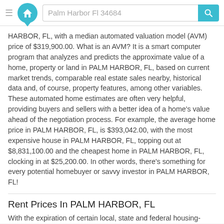Palm Harbor Fl 34684
HARBOR, FL, with a median automated valuation model (AVM) price of $319,900.00. What is an AVM? It is a smart computer program that analyzes and predicts the approximate value of a home, property or land in PALM HARBOR, FL, based on current market trends, comparable real estate sales nearby, historical data and, of course, property features, among other variables. These automated home estimates are often very helpful, providing buyers and sellers with a better idea of a home's value ahead of the negotiation process. For example, the average home price in PALM HARBOR, FL, is $393,042.00, with the most expensive house in PALM HARBOR, FL, topping out at $8,831,100.00 and the cheapest home in PALM HARBOR, FL, clocking in at $25,200.00. In other words, there's something for every potential homebuyer or savvy investor in PALM HARBOR, FL!
Rent Prices In PALM HARBOR, FL
With the expiration of certain local, state and federal housing-